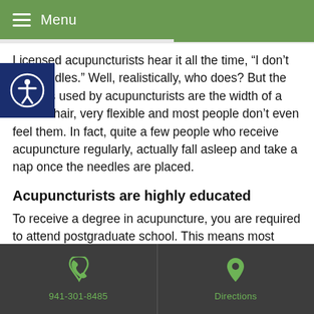Menu
Licensed acupuncturists hear it all the time, “I don’t like needles.” Well, realistically, who does? But the needles used by acupuncturists are the width of a human hair, very flexible and most people don’t even feel them. In fact, quite a few people who receive acupuncture regularly, actually fall asleep and take a nap once the needles are placed.
Acupuncturists are highly educated
To receive a degree in acupuncture, you are required to attend postgraduate school. This means most acupuncturists already have a bachelor’s degree before they even begin acupuncture school. The acupuncture license is a three to four year master’s degree that
941-301-8485 | Directions